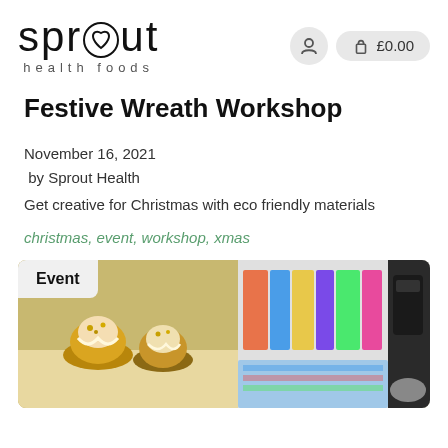sprout health foods — navigation with user icon and £0.00 cart
Festive Wreath Workshop
November 16, 2021
 by Sprout Health
Get creative for Christmas with eco friendly materials
christmas, event, workshop, xmas
[Figure (photo): A colorful event scene showing decorated food items (muffins/cakes with drizzle and toppings) on a table with colorful illustrated books and greeting cards in the background. An 'Event' badge overlays the top-left corner.]